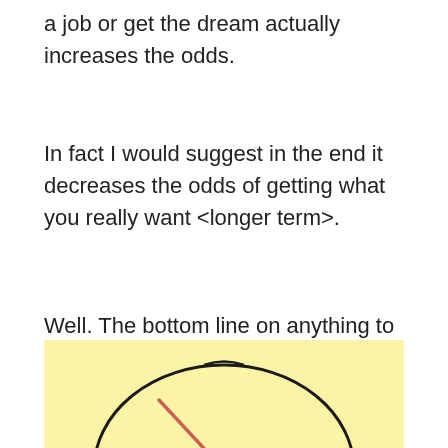a job or get the dream actually increases the odds.
In fact I would suggest in the end it decreases the odds of getting what you really want <longer term>.
Well. The bottom line on anything to do with 'odds' is that … the odds suck.
[Figure (illustration): Partial illustration of a compass or gauge on a yellow background, showing a circular dial outline and a red/salmon colored needle pointing diagonally.]